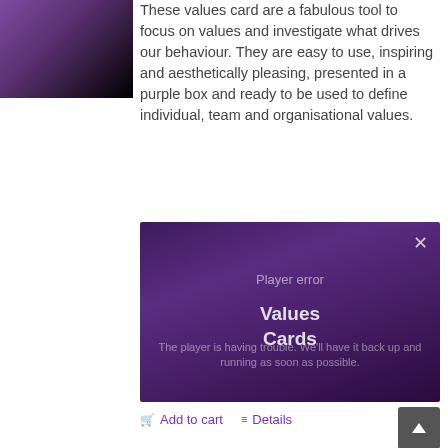[Figure (photo): Product image of Values Cards purple box]
These values card are a fabulous tool to focus on values and investigate what drives our behaviour. They are easy to use, inspiring and aesthetically pleasing, presented in a purple box and ready to be used to define individual, team and organisational values.
[Figure (screenshot): Video player error overlay showing 'Player error' and 'Values Cards' title with error message: 'The player is having trouble. We'll have it back up and running as soon as possible.' with a close X button.]
Add to cart
Details